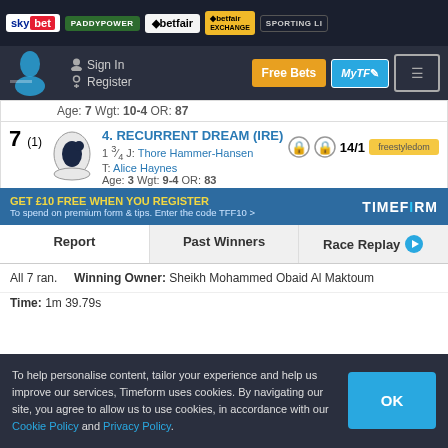sky bet | PADDYPOWER | betfair | betfair EXCHANGE | SPORTING LI...
[Figure (screenshot): Navigation header with Sign In, Register, Free Bets, MyTF and menu buttons]
Age: 7 Wgt: 10-4 OR: 87
4. RECURRENT DREAM (IRE)
1¾ J: Thore Hammer-Hansen T: Alice Haynes Age: 3 Wgt: 9-4 OR: 83 | 14/1
GET £10 FREE WHEN YOU REGISTER – To spend on premium form & tips. Enter the code TFF10 > TIMEFORM
Report | Past Winners | Race Replay
All 7 ran. Winning Owner: Sheikh Mohammed Obaid Al Maktoum
Time: 1m 39.79s
To help personalise content, tailor your experience and help us improve our services, Timeform uses cookies. By navigating our site, you agree to allow us to use cookies, in accordance with our Cookie Policy and Privacy Policy.